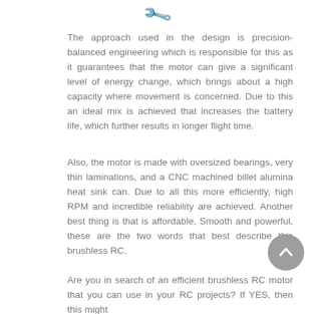[Figure (illustration): Small icon of a brushless RC motor component rotated diagonally at the top of the page]
The approach used in the design is precision-balanced engineering which is responsible for this as it guarantees that the motor can give a significant level of energy change, which brings about a high capacity where movement is concerned. Due to this an ideal mix is achieved that increases the battery life, which further results in longer flight time.
Also, the motor is made with oversized bearings, very thin laminations, and a CNC machined billet alumina heat sink can. Due to all this more efficiently, high RPM and incredible reliability are achieved. Another best thing is that is affordable, Smooth and powerful, these are the two words that best describe this brushless RC.
Are you in search of an efficient brushless RC motor that you can use in your RC projects? If YES, then this might